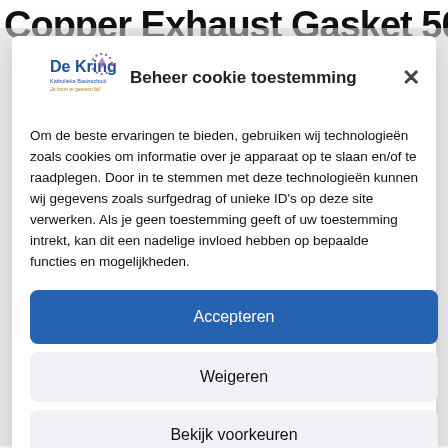Copper Exhaust Gasket 500
[Figure (logo): De Kring logo with circular dotted decoration and tagline text]
Beheer cookie toestemming
Om de beste ervaringen te bieden, gebruiken wij technologieën zoals cookies om informatie over je apparaat op te slaan en/of te raadplegen. Door in te stemmen met deze technologieën kunnen wij gegevens zoals surfgedrag of unieke ID's op deze site verwerken. Als je geen toestemming geeft of uw toestemming intrekt, kan dit een nadelige invloed hebben op bepaalde functies en mogelijkheden.
Accepteren
Weigeren
Bekijk voorkeuren
Cookiebeleid